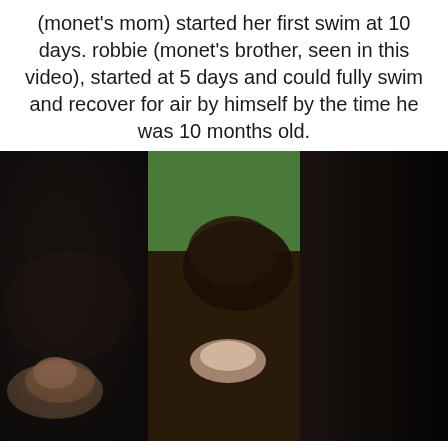(monet's mom) started her first swim at 10 days. robbie (monet's brother, seen in this video), started at 5 days and could fully swim and recover for air by himself by the time he was 10 months old.
[Figure (photo): Three-panel video screenshot collage: left panel shows a baby in a dark room, middle panel shows a baby lying on a patterned bed with green wall behind and an adult leaning over, right panel is very dark.]
Youtube
Baby monet swims @ 5 days old – her first born to